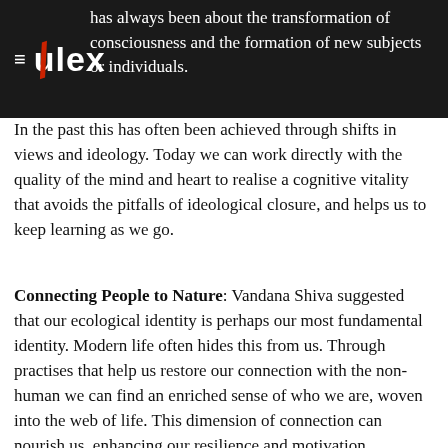≡ ulex [with logo graphic]
has always been about the transformation of consciousness and the formation of new subjects or individuals. In the past this has often been achieved through shifts in views and ideology. Today we can work directly with the quality of the mind and heart to realise a cognitive vitality that avoids the pitfalls of ideological closure, and helps us to keep learning as we go.
Connecting People to Nature: Vandana Shiva suggested that our ecological identity is perhaps our most fundamental identity. Modern life often hides this from us. Through practises that help us restore our connection with the non-human we can find an enriched sense of who we are, woven into the web of life. This dimension of connection can nourish us, enhancing our resilience and motivation.